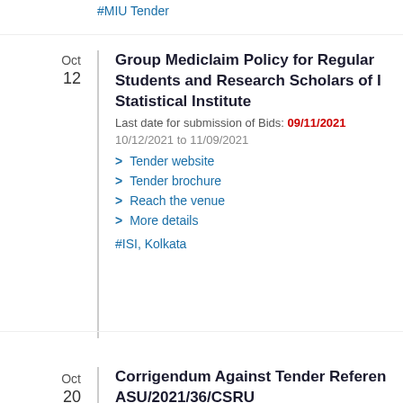#MIU Tender
Oct
12
Group Mediclaim Policy for Regular Students and Research Scholars of I Statistical Institute
Last date for submission of Bids: 09/11/2021
10/12/2021 to 11/09/2021
Tender website
Tender brochure
Reach the venue
More details
#ISI, Kolkata
Oct
20
Corrigendum Against Tender Reference ASU/2021/36/CSRU
Last date for submission of Bids: 25/10/2021
10/20/2021 to 10/25/2021